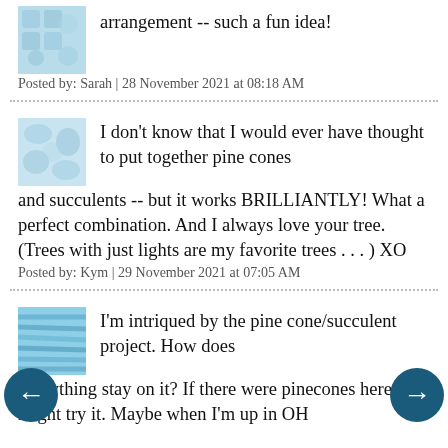arrangement -- such a fun idea!
Posted by: Sarah | 28 November 2021 at 08:18 AM
I don't know that I would ever have thought to put together pine cones and succulents -- but it works BRILLIANTLY! What a perfect combination. And I always love your tree. (Trees with just lights are my favorite trees . . . ) XO
Posted by: Kym | 29 November 2021 at 07:05 AM
I'm intriqued by the pine cone/succulent project. How does everything stay on it? If there were pinecones here I might try it. Maybe when I'm up in OH...